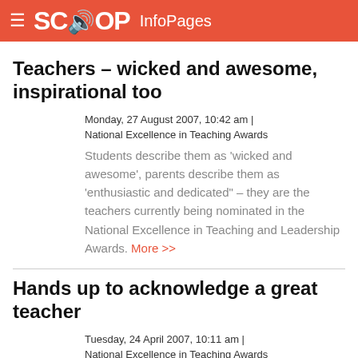SCOOP InfoPages
Teachers – wicked and awesome, inspirational too
Monday, 27 August 2007, 10:42 am | National Excellence in Teaching Awards
Students describe them as 'wicked and awesome', parents describe them as 'enthusiastic and dedicated" – they are the teachers currently being nominated in the National Excellence in Teaching and Leadership Awards. More >>
Hands up to acknowledge a great teacher
Tuesday, 24 April 2007, 10:11 am | National Excellence in Teaching Awards